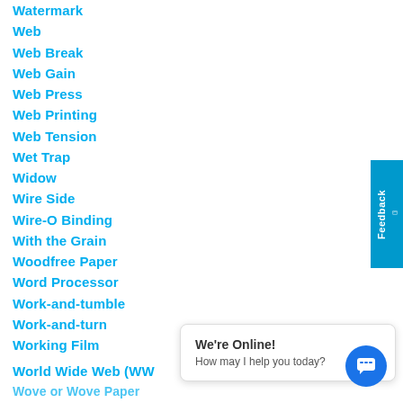Watermark
Web
Web Break
Web Gain
Web Press
Web Printing
Web Tension
Wet Trap
Widow
Wire Side
Wire-O Binding
With the Grain
Woodfree Paper
Word Processor
Work-and-tumble
Work-and-turn
Working Film
World Wide Web (WW…
Wove or Wove Paper
[Figure (screenshot): Feedback tab on the right side of the page, teal/blue vertical bar with 'Feedback' text rotated.]
[Figure (screenshot): Live chat popup bubble saying 'We're Online! How may I help you today?' with a blue chat icon button.]